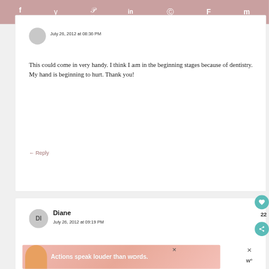f 9  y  p 12  in  reddit  F  m
July 26, 2012 at 08:36 PM
This could come in very handy. I think I am in the beginning stages because of dentistry. My hand is beginning to hurt. Thank you!
← Reply
Diane
July 26, 2012 at 09:19 PM
[Figure (screenshot): Ad banner with text 'Actions speak louder than words.' with a person in yellow jacket on pink/peach background]
22